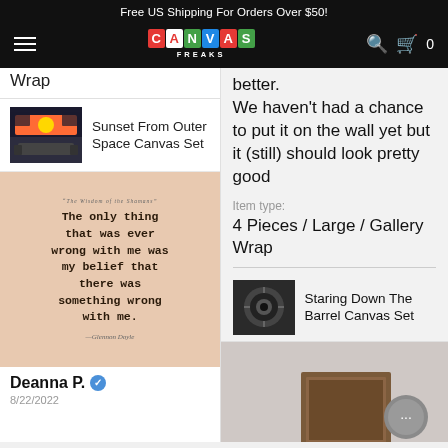Free US Shipping For Orders Over $50!
[Figure (logo): Canvas Freaks logo with colorful block letters on black navigation bar with hamburger menu, search icon, and cart icon showing 0]
Wrap
Sunset From Outer Space Canvas Set
[Figure (photo): Sunset from outer space canvas set product thumbnail showing multi-panel wall art with sofa below]
[Figure (illustration): Quote on peach/salmon background: 'The only thing that was ever wrong with me was my belief that there was something wrong with me.' —Glennon Doyle, with small header 'The Wisdom of the Shamans']
Deanna P.
better.
We haven't had a chance to put it on the wall yet but it (still) should look pretty good
Item type:
4 Pieces / Large / Gallery Wrap
Staring Down The Barrel Canvas Set
[Figure (photo): Staring Down The Barrel canvas set product thumbnail showing camera lens]
[Figure (photo): Partial view of canvas art on wall, bottom portion cut off]